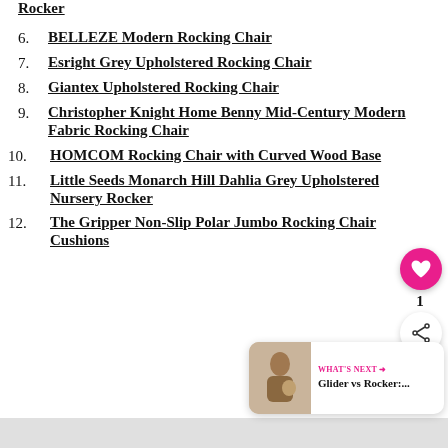6. BELLEZE Modern Rocking Chair
7. Esright Grey Upholstered Rocking Chair
8. Giantex Upholstered Rocking Chair
9. Christopher Knight Home Benny Mid-Century Modern Fabric Rocking Chair
10. HOMCOM Rocking Chair with Curved Wood Base
11. Little Seeds Monarch Hill Dahlia Grey Upholstered Nursery Rocker
12. The Gripper Non-Slip Polar Jumbo Rocking Chair Cushions
[Figure (other): Floating heart favorite button with count badge of 1, and share button]
[Figure (other): What's Next card showing Glider vs Rocker article thumbnail with person and baby]